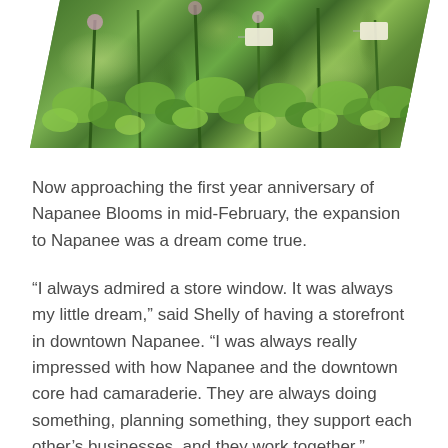[Figure (photo): A parallelogram-shaped photo of green plants and succulents on a table, with small price tags visible among the foliage.]
Now approaching the first year anniversary of Napanee Blooms in mid-February, the expansion to Napanee was a dream come true.
“I always admired a store window. It was always my little dream,” said Shelly of having a storefront in downtown Napanee. “I was always really impressed with how Napanee and the downtown core had camaraderie. They are always doing something, planning something, they support each other’s businesses, and they work together.”
Success has followed Shelly to Napanee, and she’s felt a